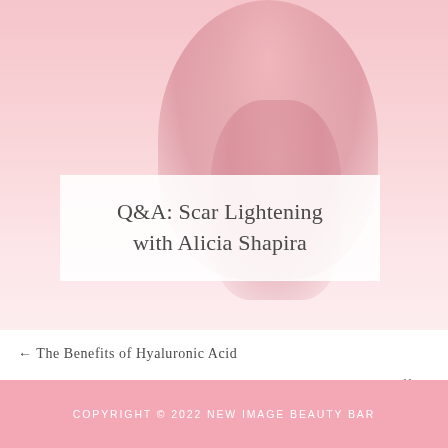[Figure (photo): Background photo of a woman smiling, rendered with a pink/rose tone overlay. The person appears in a swimsuit or casual outfit against a light background. The image occupies the top portion of the page with a semi-transparent pinkish wash.]
Q&A: Scar Lightening with Alicia Shapira
← The Benefits of Hyaluronic Acid
Celebrate 2020 with 20% Off →
COPYRIGHT © 2022 NEW IMAGE BEAUTY BAR